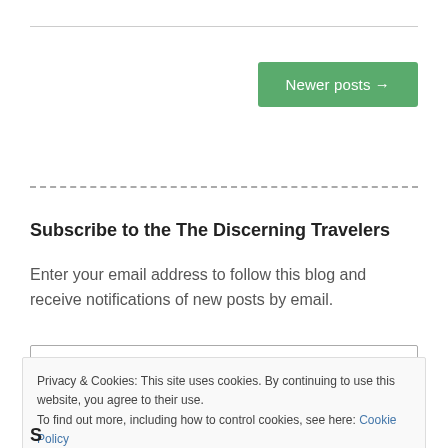[Figure (other): Horizontal solid line separator]
Newer posts →
[Figure (other): Horizontal dashed line separator]
Subscribe to the The Discerning Travelers
Enter your email address to follow this blog and receive notifications of new posts by email.
Privacy & Cookies: This site uses cookies. By continuing to use this website, you agree to their use.
To find out more, including how to control cookies, see here: Cookie Policy
Close and accept